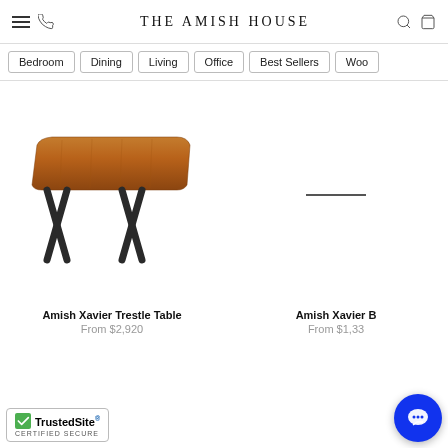THE AMISH HOUSE
Bedroom
Dining
Living
Office
Best Sellers
Woo...
[Figure (photo): Amish Xavier Trestle Table - wooden table with X-shaped metal legs, live edge top]
Amish Xavier Trestle Table
From $2,920
[Figure (photo): Amish Xavier B... product image placeholder with horizontal line]
Amish Xavier B...
From $1,33...
[Figure (logo): TrustedSite Certified Secure badge]
[Figure (other): Blue chat button with speech bubble icon]